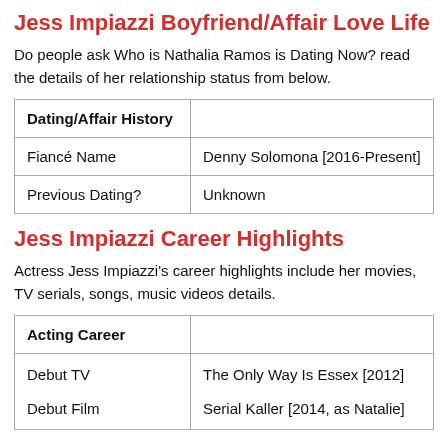Jess Impiazzi Boyfriend/Affair Love Life
Do people ask Who is Nathalia Ramos is Dating Now? read the details of her relationship status from below.
| Dating/Affair History |  |
| --- | --- |
| Fiancé Name | Denny Solomona [2016-Present] |
| Previous Dating? | Unknown |
Jess Impiazzi Career Highlights
Actress Jess Impiazzi's career highlights include her movies, TV serials, songs, music videos details.
| Acting Career |  |
| --- | --- |
| Debut TV

Debut Film | The Only Way Is Essex [2012]

Serial Kaller [2014, as Natalie] |